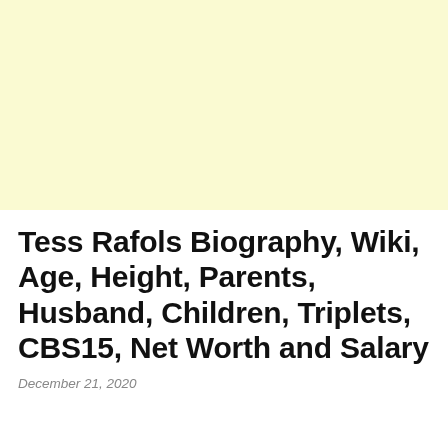[Figure (other): Light yellow advertisement banner placeholder at the top of the page]
Tess Rafols Biography, Wiki, Age, Height, Parents, Husband, Children, Triplets, CBS15, Net Worth and Salary
December 21, 2020